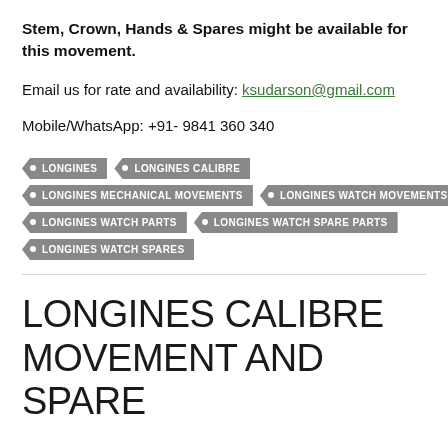Stem, Crown, Hands & Spares might be available for this movement.
Email us for rate and availability: ksudarson@gmail.com
Mobile/WhatsApp: +91- 9841 360 340
LONGINES
LONGINES CALIBRE
LONGINES MECHANICAL MOVEMENTS
LONGINES WATCH MOVEMENTS
LONGINES WATCH PARTS
LONGINES WATCH SPARE PARTS
LONGINES WATCH SPARES
LONGINES CALIBRE MOVEMENT AND SPARE